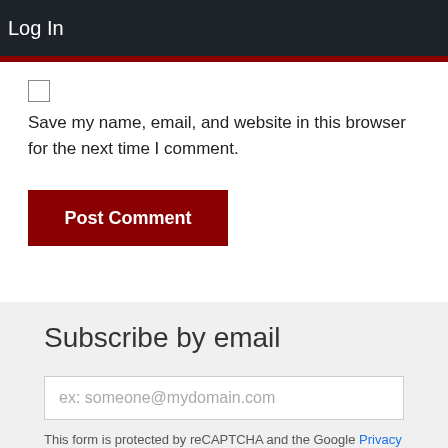Log In
[Figure (other): Checkbox (unchecked)]
Save my name, email, and website in this browser for the next time I comment.
Post Comment
Subscribe by email
ex: someone@mydomain.com
This form is protected by reCAPTCHA and the Google Privacy